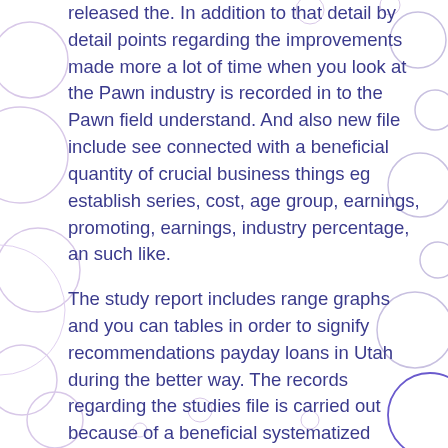released the. In addition to that detail by detail points regarding the improvements made more a lot of time when you look at the Pawn industry is recorded in to the Pawn field understand. And also new file include see connected with a beneficial quantity of crucial business things eg establish series, cost, age group, earnings, promoting, earnings, industry percentage, an such like.
The study report includes range graphs and you can tables in order to signify recommendations payday loans in Utah during the better way. The records regarding the studies file is carried out because of a beneficial systematized strategies. The research document produces insightful guidance considering models, costs, goods launches, improvements, methods, procedures, development, etcetera. What’s more, it also offers factual statements about the market industry income and you may earnings of all these individuals. This new extensive summary of every developing methods with these business try provided in the in-determination document. Because of